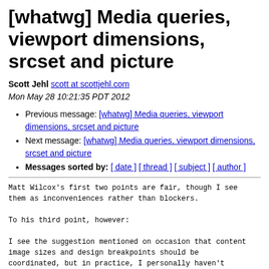[whatwg] Media queries, viewport dimensions, srcset and picture
Scott Jehl scott at scottjehl.com
Mon May 28 10:21:35 PDT 2012
Previous message: [whatwg] Media queries, viewport dimensions, srcset and picture
Next message: [whatwg] Media queries, viewport dimensions, srcset and picture
Messages sorted by: [ date ] [ thread ] [ subject ] [ author ]
Matt Wilcox's first two points are fair, though I see
them as inconveniences rather than blockers.

To his third point, however:

I see the suggestion mentioned on occasion that content
image sizes and design breakpoints should be
coordinated, but in practice, I personally haven't
found much of a need for that coordination.